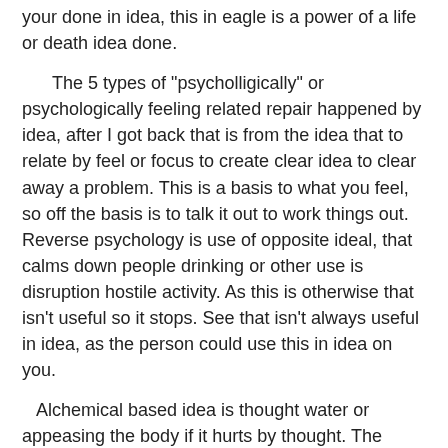your done in idea, this in eagle is a power of a life or death idea done.
The 5 types of "psycholligically" or psychologically feeling related repair happened by idea, after I got back that is from the idea that to relate by feel or focus to create clear idea to clear away a problem. This is a basis to what you feel, so off the basis is to talk it out to work things out. Reverse psychology is use of opposite ideal, that calms down people drinking or other use is disruption hostile activity. As this is otherwise that isn't useful so it stops. See that isn't always useful in idea, as the person could use this in idea on you.
Alchemical based idea is thought water or appeasing the body if it hurts by thought. The fourth is what you see as use, talk it out or you can see as you use or count an idea attack. As he appears several ways in different area that is an idea.
He is him in thought, think unaggression to the person if aggrieved so the person allows or not. What you say to do as you walk around him. Just remember, don't be bashful. As your idea is an idea to use, relational values are where you